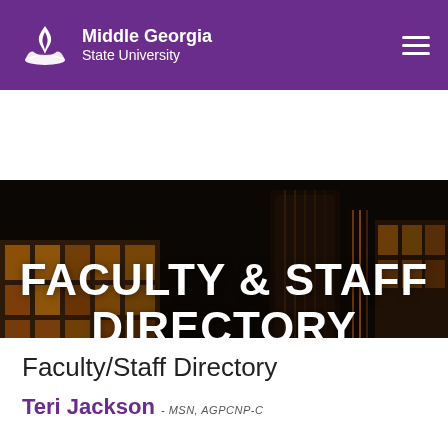Middle Georgia State University
[Figure (screenshot): Hero banner image of a university building at night with warm orange lighting, overlaid with large white bold text reading FACULTY & STAFF DIRECTORY]
FACULTY & STAFF DIRECTORY
Faculty/Staff Directory
Teri Jackson - MSN, AGPCNP-C